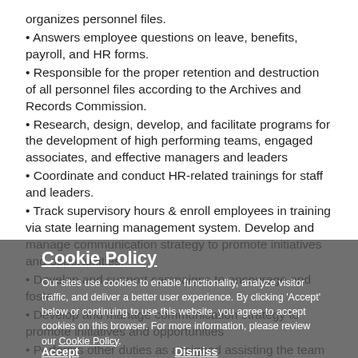organizes personnel files.
• Answers employee questions on leave, benefits, payroll, and HR forms.
• Responsible for the proper retention and destruction of all personnel files according to the Archives and Records Commission.
• Research, design, develop, and facilitate programs for the development of high performing teams, engaged associates, and effective managers and leaders
• Coordinate and conduct HR-related trainings for staff and leaders.
• Track supervisory hours & enroll employees in training via state learning management system. Develop and manage communication strategy to promote initiatives and opportunities.
• Develop and support campaigns to encourage and foster...
• Develop and manage communication strategy to promote initiatives and opportunities
• Performs other duties as assigned assisting the team to complete projects as needed.
Cookie Policy — Our sites use cookies to enable functionality, analyze visitor traffic, and deliver a better user experience. By clicking 'Accept' below or continuing to use this website, you agree to accept cookies on this browser. For more information, please review our Cookie Policy. [Accept] [Dismiss]